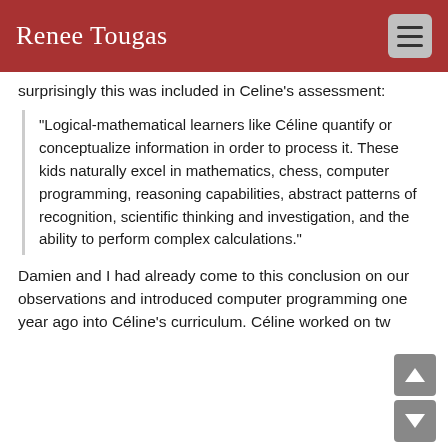Renee Tougas
surprisingly this was included in Celine's assessment:
"Logical-mathematical learners like Céline quantify or conceptualize information in order to process it. These kids naturally excel in mathematics, chess, computer programming, reasoning capabilities, abstract patterns of recognition, scientific thinking and investigation, and the ability to perform complex calculations."
Damien and I had already come to this conclusion on our observations and introduced computer programming one year ago into Céline's curriculum. Céline worked on tw...